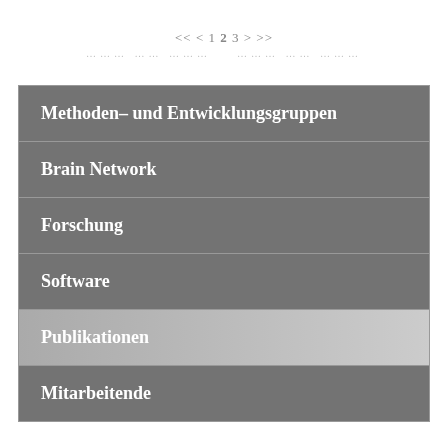<< < 1 2 3 > >>
Methoden- und Entwicklungsgruppen
Brain Network
Forschung
Software
Publikationen
Mitarbeitende
Leiter